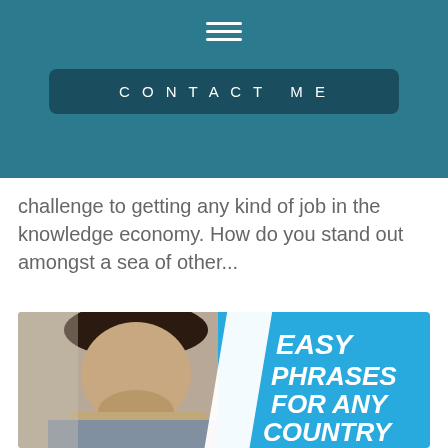CONTACT ME
challenge to getting any kind of job in the knowledge economy. How do you stand out amongst a sea of other...
[Figure (photo): Thumbnail image showing a young man thinking with hand near chin, beside a blue background with bold italic text reading EASY PHRASES FOR ANY COUNTRY]